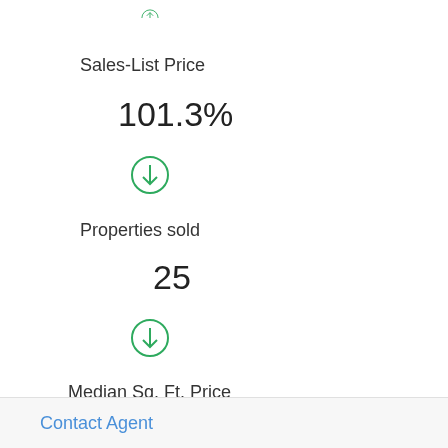[Figure (infographic): Green circle with upward arrow icon (partially visible at top)]
Sales-List Price
101.3%
[Figure (infographic): Green circle with downward arrow icon]
Properties sold
25
[Figure (infographic): Green circle with downward arrow icon]
Median Sq. Ft. Price
Contact Agent